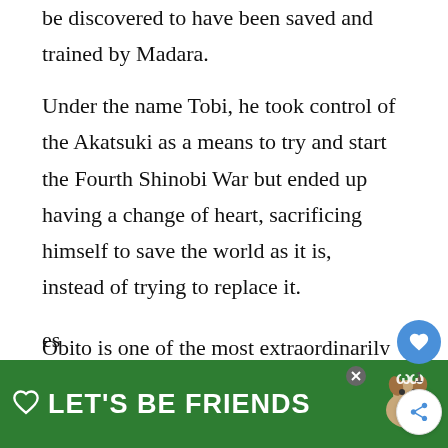be discovered to have been saved and trained by Madara.
Under the name Tobi, he took control of the Akatsuki as a means to try and start the Fourth Shinobi War but ended up having a change of heart, sacrificing himself to save the world as it is, instead of trying to replace it.
Obito is one of the most extraordinarily powerful characters in the Naruto series, es[...]ls
[Figure (screenshot): Green advertisement banner at the bottom reading LET'S BE FRIENDS with a dog illustration and a heart icon, with a close button]